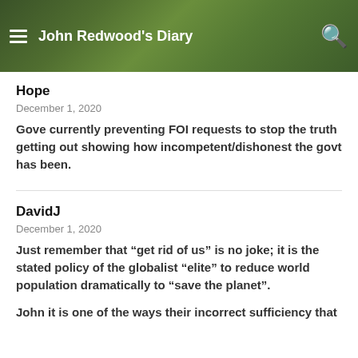John Redwood's Diary
Hope
December 1, 2020
Gove currently preventing FOI requests to stop the truth getting out showing how incompetent/dishonest the govt has been.
DavidJ
December 1, 2020
Just remember that “get rid of us” is no joke; it is the stated policy of the globalist “elite” to reduce world population dramatically to “save the planet”.
John it is one of the ways their incorrect sufficiency that the...